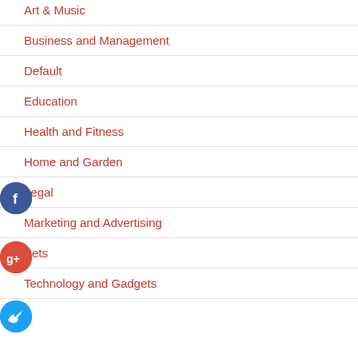Art & Music
Business and Management
Default
Education
Health and Fitness
Home and Garden
Legal
Marketing and Advertising
Pets
Technology and Gadgets